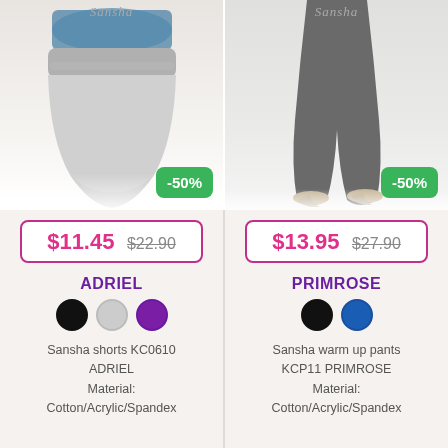[Figure (photo): Sansha shorts product photo (ADRIEL) with -50% badge]
[Figure (photo): Sansha warm up pants product photo (PRIMROSE) with -50% badge]
$11.45  $22.90
$13.95  $27.90
ADRIEL
PRIMROSE
Sansha shorts KC0610 ADRIEL
Material:
Cotton/Acrylic/Spandex
Sansha warm up pants KCP11 PRIMROSE
Material:
Cotton/Acrylic/Spandex